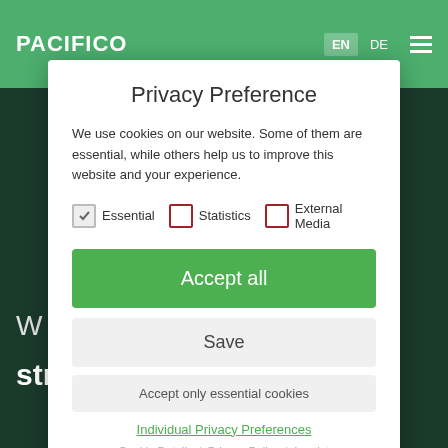[Figure (screenshot): PACIFICO logo in white on green header bar with EN/DE language switcher and hamburger menu]
Privacy Preference
We use cookies on our website. Some of them are essential, while others help us to improve this website and your experience.
Essential  Statistics  External Media (checkboxes)
Accept all
Save
Accept only essential cookies
Individual Privacy Preferences
Cookie Details | Privacy Policy | Imprint
strategic partnership with